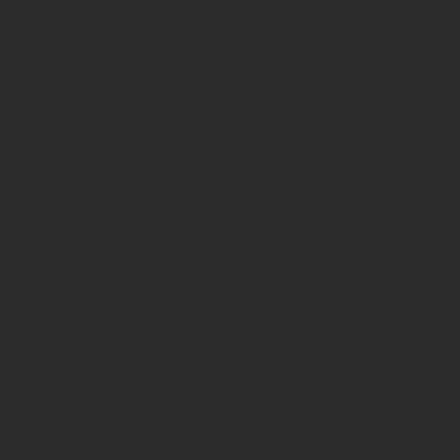[Figure (screenshot): Dark noisy background on the left side of the page, with a diff/comparison view on the right showing two rows of code differences. Row 1 removed cell: -* <span class="speaker">Announcer: </span>"In regional headlines: North Moscow Henrys(?) 85, Afghan Yankees 117." Row 1 added cell: +* <span class="speaker">Announcer: </span> "In regional headlines: North Moscow Henrys(?) 85, Afghan Yankees 117." Row 2 removed cell: -* <span class="speaker">Announcer: </span>"Protesters claim solar eclipses caused by the 34,000 network satellites already in orbit are Row 2 added cell: +* <span class="speaker">Announcer: </span> "Protesters claim solar eclipses caused by the 34,000 network satellites already in]